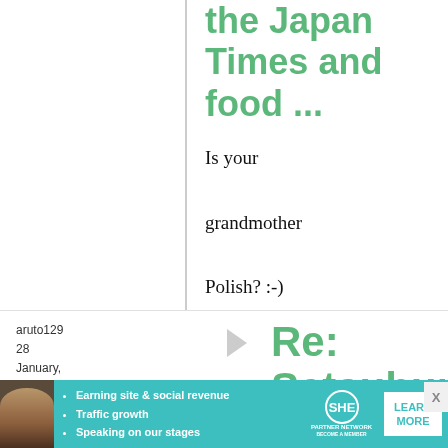the Japan Times and food ...
Is your grandmother Polish? :-)
aruto129
28 January, 2012 - 17:41
permalink
Re: Setsubun and beans
[Figure (infographic): SHE PARTNER NETWORK advertisement banner with photo of a woman, bullet points: Earning site & social revenue, Traffic growth, Speaking on our stages, SHE logo, and LEARN MORE button]